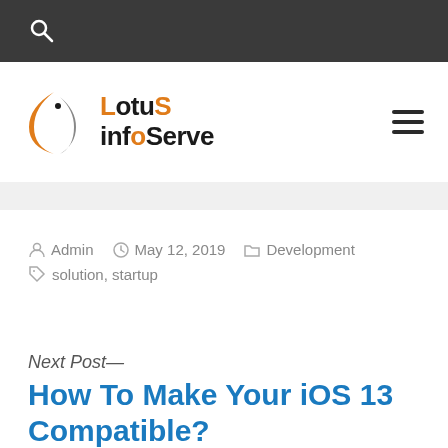Search
[Figure (logo): Lotus infoServe logo with orange crescent and serif i symbol]
Admin  May 12, 2019  Development  solution, startup
Next Post—
How To Make Your iOS 13 Compatible?